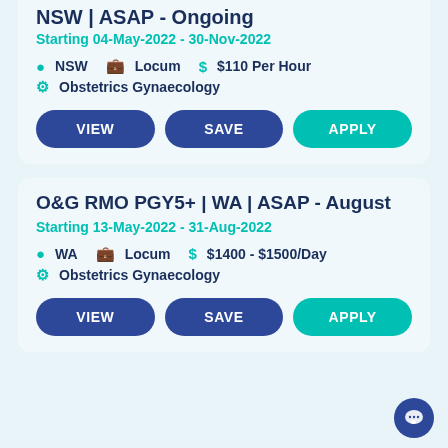NSW | ASAP - Ongoing
Starting 04-May-2022 - 30-Nov-2022
NSW   Locum   $110 Per Hour
Obstetrics Gynaecology
VIEW  SAVE  APPLY
O&G RMO PGY5+ | WA | ASAP - August
Starting 13-May-2022 - 31-Aug-2022
WA   Locum   $1400 - $1500/Day
Obstetrics Gynaecology
VIEW  SAVE  APPLY